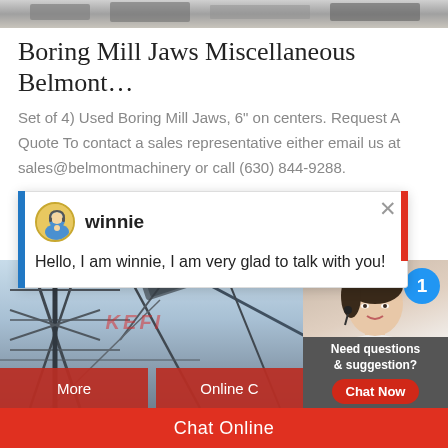[Figure (photo): Top strip showing industrial machinery parts (boring mill jaws), partially cropped]
Boring Mill Jaws Miscellaneous Belmont…
Set of 4) Used Boring Mill Jaws, 6" on centers. Request A Quote To contact a sales representative either email us at sales@belmontmachinery or call (630) 844-9288.
[Figure (screenshot): Live chat popup window with avatar of 'winnie' and message: Hello, I am winnie, I am very glad to talk with you!]
[Figure (photo): Industrial conveyor/mining equipment structure photo with KEFI watermark, overlaid with More and Online Chat buttons and a customer service widget showing a woman with headset and notification badge '1', with 'Need questions & suggestion? Chat Now' panel]
Chat Online